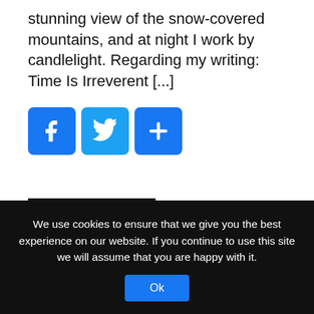stunning view of the snow-covered mountains, and at night I work by candlelight. Regarding my writing: Time Is Irreverent [...]
[Figure (other): Three social sharing buttons: Facebook (blue), Twitter (light blue), and a share plus button (blue)]
READ MORE
The Republican Jesus has a new song!
October 27, 2019 | Written by Marty Essen
We use cookies to ensure that we give you the best experience on our website. If you continue to use this site we will assume that you are happy with it.